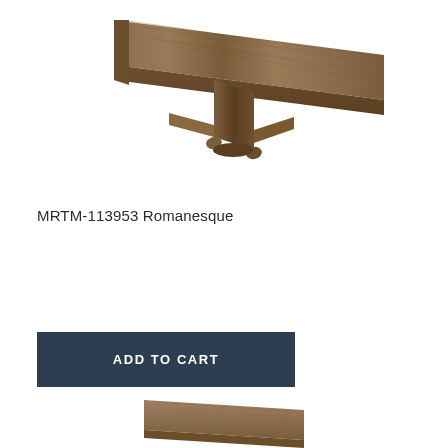[Figure (photo): A T-molding flooring trim piece in a warm brown wood-grain finish (Romanesque color), photographed diagonally showing the T-profile shape, on a white background.]
MRTM-113953 Romanesque
[Figure (other): ADD TO CART button — dark navy/charcoal rectangle with white uppercase text.]
[Figure (photo): Partial view of another flooring trim piece in matching Romanesque brown wood-grain finish, partially cropped at the bottom of the page.]